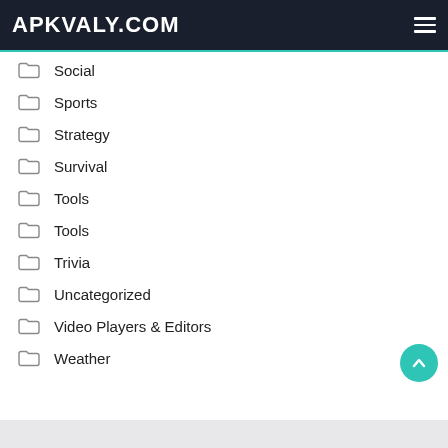APKVALY.COM
Social
Sports
Strategy
Survival
Tools
Tools
Trivia
Uncategorized
Video Players & Editors
Weather